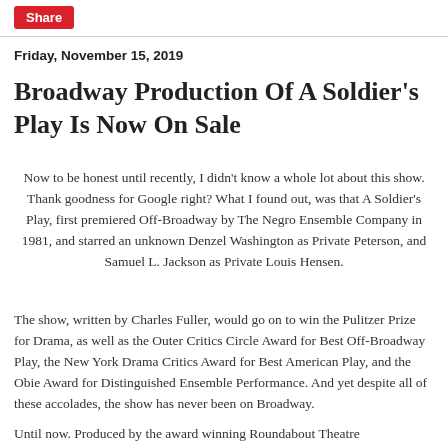Share
Friday, November 15, 2019
Broadway Production Of A Soldier's Play Is Now On Sale
Now to be honest until recently, I didn't know a whole lot about this show. Thank goodness for Google right? What I found out, was that A Soldier's Play, first premiered Off-Broadway by The Negro Ensemble Company in 1981, and starred an unknown Denzel Washington as Private Peterson, and Samuel L. Jackson as Private Louis Hensen.
The show, written by Charles Fuller, would go on to win the Pulitzer Prize for Drama, as well as the Outer Critics Circle Award for Best Off-Broadway Play, the New York Drama Critics Award for Best American Play, and the Obie Award for Distinguished Ensemble Performance. And yet despite all of these accolades, the show has never been on Broadway.
Until now. Produced by the award winning Roundabout Theatre